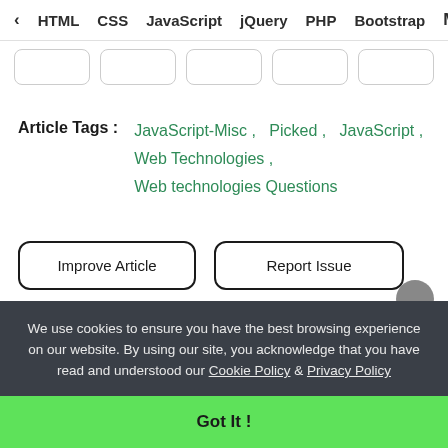< HTML   CSS   JavaScript   jQuery   PHP   Bootstrap   M>
Article Tags :   JavaScript-Misc ,   Picked ,   JavaScript ,  Web Technologies ,  Web technologies Questions
Improve Article    Report Issue
We use cookies to ensure you have the best browsing experience on our website. By using our site, you acknowledge that you have read and understood our Cookie Policy & Privacy Policy
Got It !